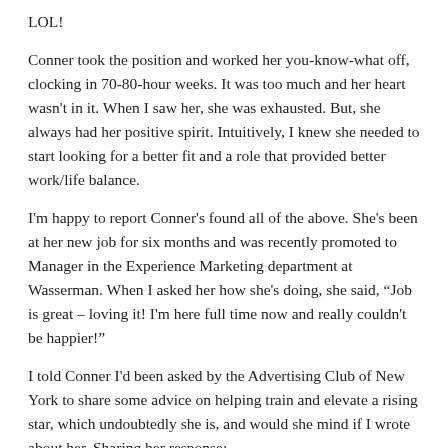LOL!
Conner took the position and worked her you-know-what off, clocking in 70-80-hour weeks. It was too much and her heart wasn't in it. When I saw her, she was exhausted. But, she always had her positive spirit. Intuitively, I knew she needed to start looking for a better fit and a role that provided better work/life balance.
I'm happy to report Conner's found all of the above. She's been at her new job for six months and was recently promoted to Manager in the Experience Marketing department at Wasserman. When I asked her how she's doing, she said, “Job is great – loving it! I'm here full time now and really couldn't be happier!”
I told Conner I'd been asked by the Advertising Club of New York to share some advice on helping train and elevate a rising star, which undoubtedly she is, and would she mind if I wrote about her. Sharing her response:
This blog sounds awesome and of course you can mention me. I’m so flattered you thought of me!
I believe that it would not have been possible for me to land where I am today in my career without the guidance, advice, and wisdom